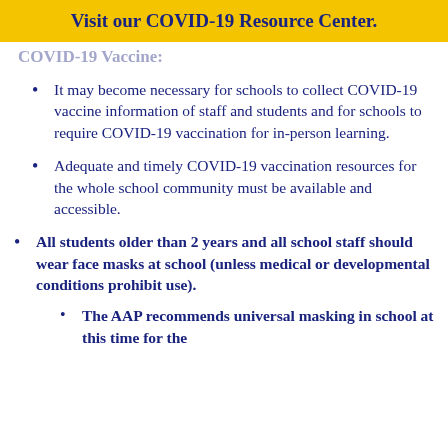Visit our COVID-19 Resource Center.
COVID-19 Vaccine:
It may become necessary for schools to collect COVID-19 vaccine information of staff and students and for schools to require COVID-19 vaccination for in-person learning.
Adequate and timely COVID-19 vaccination resources for the whole school community must be available and accessible.
All students older than 2 years and all school staff should wear face masks at school (unless medical or developmental conditions prohibit use).
The AAP recommends universal masking in school at this time for the